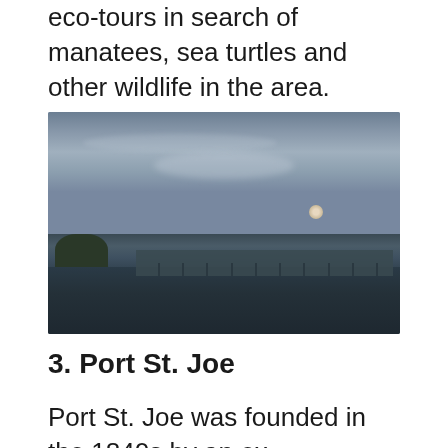eco-tours in search of manatees, sea turtles and other wildlife in the area.
[Figure (photo): Dusk photograph of a waterfront pier and buildings with a full moon visible in the hazy sky, taken from across the water.]
3. Port St. Joe
Port St. Joe was founded in the 1840s by an ex-Confederate soldier turned real estate